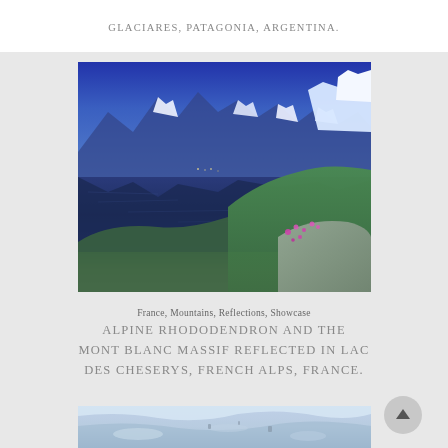GLACIARES, PATAGONIA, ARGENTINA.
[Figure (photo): Alpine lake reflecting snow-capped Mont Blanc massif with alpine rhododendron flowers on rocky foreground, French Alps, France]
France, Mountains, Reflections, Showcase
ALPINE RHODODENDRON AND THE MONT BLANC MASSIF REFLECTED IN LAC DES CHESERYS, FRENCH ALPS, FRANCE.
[Figure (photo): Snowy glacier landscape, partially visible at bottom of page]